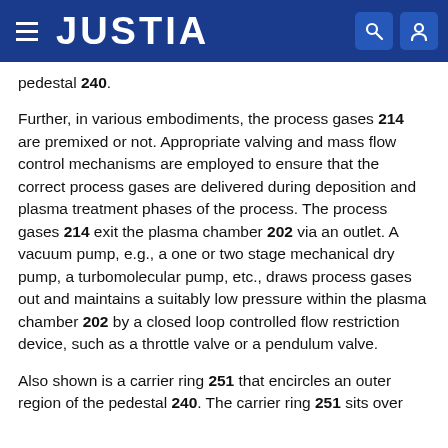JUSTIA
pedestal 240.
Further, in various embodiments, the process gases 214 are premixed or not. Appropriate valving and mass flow control mechanisms are employed to ensure that the correct process gases are delivered during deposition and plasma treatment phases of the process. The process gases 214 exit the plasma chamber 202 via an outlet. A vacuum pump, e.g., a one or two stage mechanical dry pump, a turbomolecular pump, etc., draws process gases out and maintains a suitably low pressure within the plasma chamber 202 by a closed loop controlled flow restriction device, such as a throttle valve or a pendulum valve.
Also shown is a carrier ring 251 that encircles an outer region of the pedestal 240. The carrier ring 251 sits over